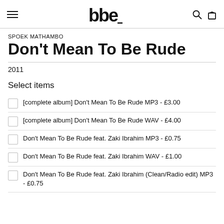bbe logo, search icon, bag icon
SPOEK MATHAMBO
Don't Mean To Be Rude
2011
Select items
[complete album] Don't Mean To Be Rude MP3 - £3.00
[complete album] Don't Mean To Be Rude WAV - £4.00
Don't Mean To Be Rude feat. Zaki Ibrahim MP3 - £0.75
Don't Mean To Be Rude feat. Zaki Ibrahim WAV - £1.00
Don't Mean To Be Rude feat. Zaki Ibrahim (Clean/Radio edit) MP3 - £0.75